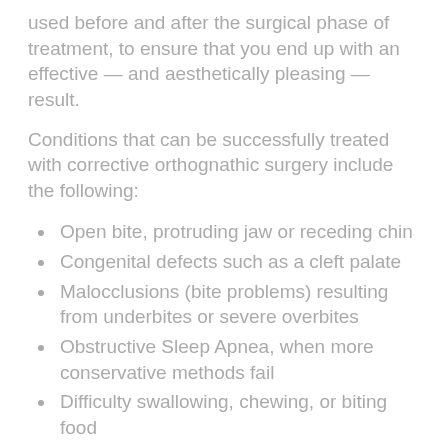used before and after the surgical phase of treatment, to ensure that you end up with an effective — and aesthetically pleasing — result.
Conditions that can be successfully treated with corrective orthognathic surgery include the following:
Open bite, protruding jaw or receding chin
Congenital defects such as a cleft palate
Malocclusions (bite problems) resulting from underbites or severe overbites
Obstructive Sleep Apnea, when more conservative methods fail
Difficulty swallowing, chewing, or biting food
Chronic jaw or jaw joint (TMJ) pain and headache
Unbalanced facial appearance from the front or side
Inability to make the lips meet without straining
Chronic mouth breathing and dry mouth